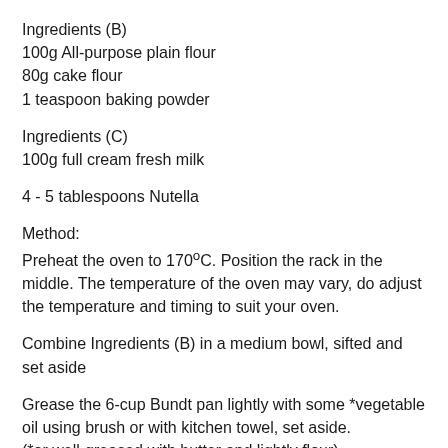Ingredients (B)
100g All-purpose plain flour
80g cake flour
1 teaspoon baking powder
Ingredients (C)
100g full cream fresh milk
4 - 5 tablespoons Nutella
Method:
Preheat the oven to 170ºC. Position the rack in the middle. The temperature of the oven may vary, do adjust the temperature and timing to suit your oven.
Combine Ingredients (B) in a medium bowl, sifted and set aside
Grease the 6-cup Bundt pan lightly with some *vegetable oil using brush or with kitchen towel, set aside.
(*or well-greased with butter and lightly flour)